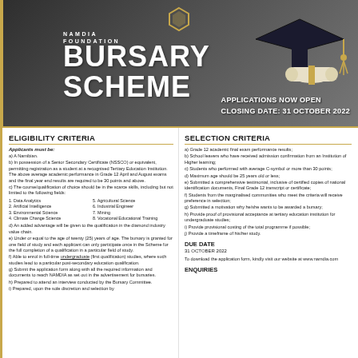[Figure (illustration): Namdia Foundation Bursary Scheme header banner with graduation cap and diploma on dark grey background]
NAMDIA FOUNDATION BURSARY SCHEME
APPLICATIONS NOW OPEN CLOSING DATE: 31 OCTOBER 2022
ELIGIBILITY CRITERIA
Applicants must be:
a) A Namibian.
b) In possession of a Senior Secondary Certificate (NSSCO) or equivalent, permitting registration as a student at a recognised Tertiary Education Institution. The above average academic performance in Grade 12 April and August exams and the final year end results are required to be 30 points and above.
c) The course/qualification of choice should be in the scarce skills, including but not limited to the following fields:
1. Data Analytics
2. Artificial Intelligence
3. Environmental Science
4. Climate Change Science
5. Agricultural Science
6. Industrial Engineer
7. Mining
8. Vocational Educational Training
d) An added advantage will be given to the qualification in the diamond industry value chain.
e) Under or equal to the age of twenty (25) years of age. The bursary is granted for one field of study and each applicant can only participate once in the Scheme for the full completion of a qualification in a particular field of study.
f) Able to enrol in full-time undergraduate (first qualification) studies, where such studies lead to a particular post-secondary education qualification.
g) Submit the application form along with all the required information and documents to reach NAMDIA as set out in the advertisement for bursaries.
h) Prepared to attend an interview conducted by the Bursary Committee.
i) Prepared, upon the sole discretion and selection by
SELECTION CRITERIA
a) Grade 12 academic final exam performance results;
b) School leavers who have received admission confirmation from an Institution of Higher learning;
c) Students who performed with average C-symbol or more than 30 points;
d) Maximum age should be 25 years old or less;
e) Submitted a comprehensive testimonial, inclusive of certified copies of national identification documents, Final Grade 12 transcript or certificate;
f) Students from the marginalised communities who meet the criteria will receive preference in selection;
g) Submitted a motivation why he/she wants to be awarded a bursary;
h) Provide proof of provisional acceptance at tertiary education institution for undergraduate studies;
i) Provide provisional costing of the total programme if possible;
j) Provide a timeframe of his/her study.
DUE DATE
31 OCTOBER 2022
To download the application form, kindly visit our website at www.namdia.com
ENQUIRIES